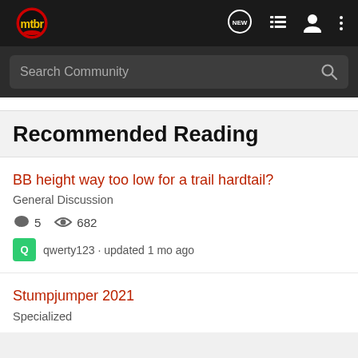mtbr
Search Community
Recommended Reading
BB height way too low for a trail hardtail?
General Discussion
5   682
qwerty123 · updated 1 mo ago
Stumpjumper 2021
Specialized